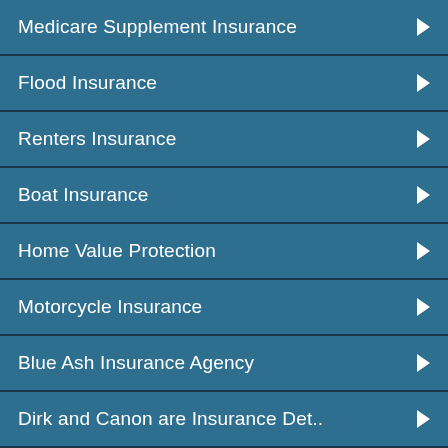Medicare Supplement Insurance
Flood Insurance
Renters Insurance
Boat Insurance
Home Value Protection
Motorcycle Insurance
Blue Ash Insurance Agency
Dirk and Canon are Insurance Det..